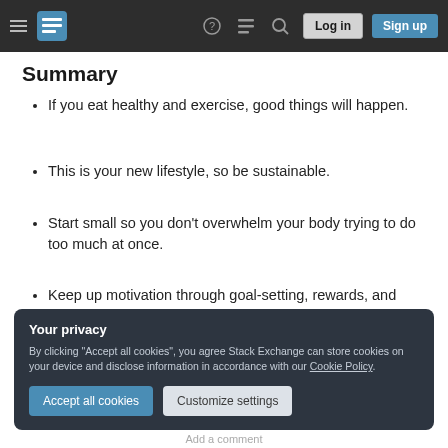Stack Exchange navigation bar with Log in and Sign up buttons
Summary
If you eat healthy and exercise, good things will happen.
This is your new lifestyle, so be sustainable.
Start small so you don't overwhelm your body trying to do too much at once.
Keep up motivation through goal-setting, rewards, and having accountability.
Your privacy
By clicking "Accept all cookies", you agree Stack Exchange can store cookies on your device and disclose information in accordance with our Cookie Policy.
Accept all cookies   Customize settings
Add a comment